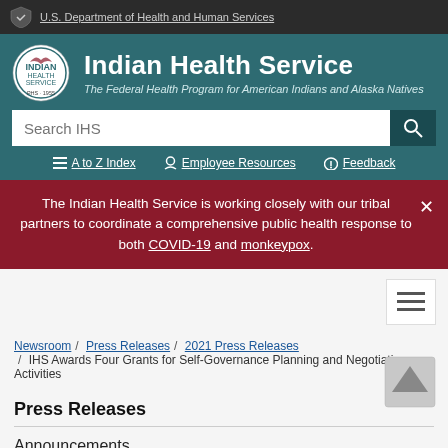U.S. Department of Health and Human Services
Indian Health Service
The Federal Health Program for American Indians and Alaska Natives
Search IHS
A to Z Index   Employee Resources   Feedback
The Indian Health Service is working closely with our tribal partners to coordinate a comprehensive public health response to both COVID-19 and monkeypox.
Newsroom / Press Releases / 2021 Press Releases / IHS Awards Four Grants for Self-Governance Planning and Negotiation Activities
Press Releases
Announcements